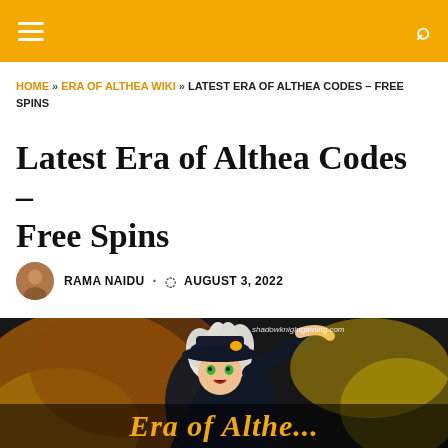Navigation bar with hamburger menu and search icon
HOME » ERA OF ALTHEA WIKI » LATEST ERA OF ALTHEA CODES – FREE SPINS
Latest Era of Althea Codes – Free Spins
RAMA NAIDU · AUGUST 3, 2022
[Figure (illustration): Anime character from Era of Althea game with Black Clover style art, white-haired character in dark outfit with dramatic pose, orange/fire background. Watermark: shadowknightgaming.com. Partial text overlay at bottom in gold: 'Era of Althe...']